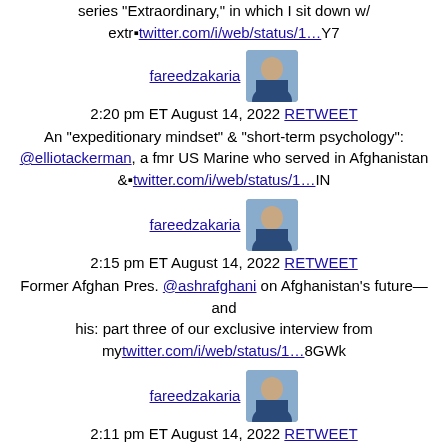this Sun, Aug 21, tune into @fareed for the last premiere of my series "Extraordinary," in which I sit down w/ extr■twitter.com/i/web/status/1…Y7
fareedzakaria 2:20 pm ET August 14, 2022 RETWEET An "expeditionary mindset" & "short-term psychology": @elliotackerman, a fmr US Marine who served in Afghanistan &■twitter.com/i/web/status/1…IN
fareedzakaria 2:15 pm ET August 14, 2022 RETWEET Former Afghan Pres. @ashrafghani on Afghanistan's future—and his: part three of our exclusive interview from mytwitter.com/i/web/status/1…8GWk
fareedzakaria 2:11 pm ET August 14, 2022 RETWEET